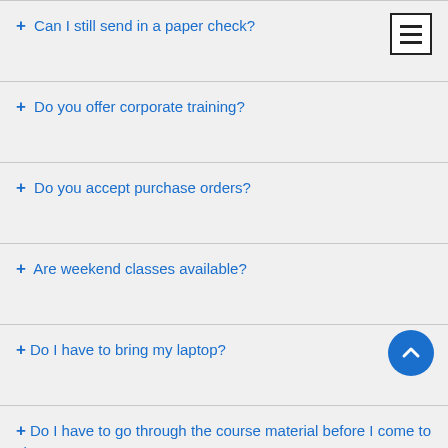+ Can I still send in a paper check?
+ Do you offer corporate training?
+ Do you accept purchase orders?
+ Are weekend classes available?
+Do I have to bring my laptop?
+Do I have to go through the course material before I come to class?
+I received an email from "koenigindia@gmail.com". Is this Koenig's official email id?